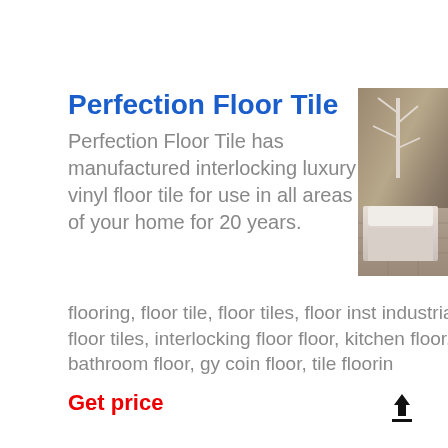Perfection Floor Tile
Perfection Floor Tile has manufactured interlocking luxury vinyl floor tile for use in all areas of your home for 20 years.
[Figure (photo): Photo of a bedroom with hardwood flooring, white bedding and a white tree branch decoration against a wood-paneled wall.]
flooring, floor tile, floor tiles, floor inst industrial floor tiles, interlocking floor floor, kitchen floor, bathroom floor, gy coin floor, tile floorin
Get price